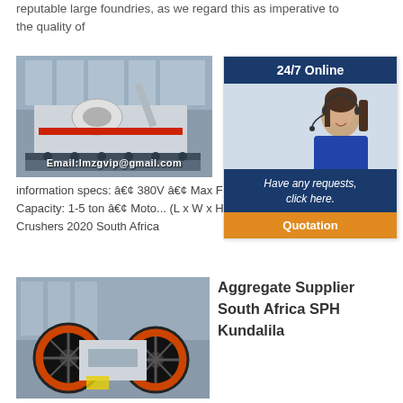reputable large foundries, as we regard this as imperative to the quality of
[Figure (photo): Industrial crusher/mining machine in a facility with email overlay text: Email:lmzgvip@gmail.com]
[Figure (other): 24/7 Online support widget with woman wearing headset, message 'Have any requests, click here.' and Quotation button]
information specs: • 380V • Max Feeding Si... Output: 10-40mm • Capacity: 1-5 ton • Moto... (L x W x H) 750mm x 660mm x 850mm . Crushers 2020 South Africa
[Figure (photo): Industrial aggregate/crusher equipment in a factory setting]
Aggregate Supplier South Africa SPH Kundalila